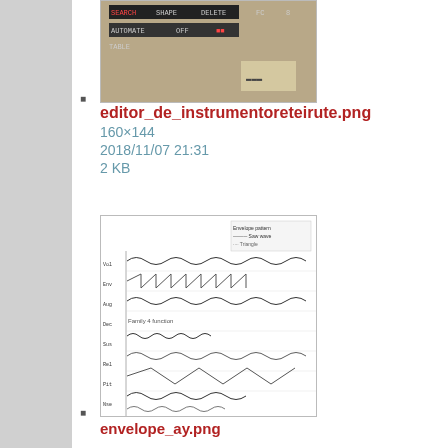[Figure (screenshot): Partial thumbnail of editor_de_instrumentoreteirute.png showing a pixelated interface with SHAPE, AUTOMATE TABLE text]
editor_de_instrumentoreteirute.png
160×144
2018/11/07 21:31
2 KB
[Figure (screenshot): Thumbnail of envelope_ay.png showing waveform envelope diagram with multiple rows of wave patterns]
envelope_ay.png
307×496
2018/11/07 21:31
74 KB
[Figure (screenshot): Thumbnail of fami_tuto.jpg showing a dark music tracker software interface]
fami_tuto.jpg
320×260